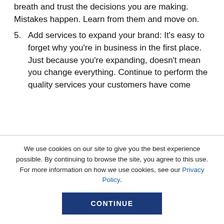breath and trust the decisions you are making. Mistakes happen. Learn from them and move on.
5. Add services to expand your brand: It's easy to forget why you're in business in the first place. Just because you're expanding, doesn't mean you change everything. Continue to perform the quality services your customers have come
We use cookies on our site to give you the best experience possible. By continuing to browse the site, you agree to this use. For more information on how we use cookies, see our Privacy Policy.
CONTINUE